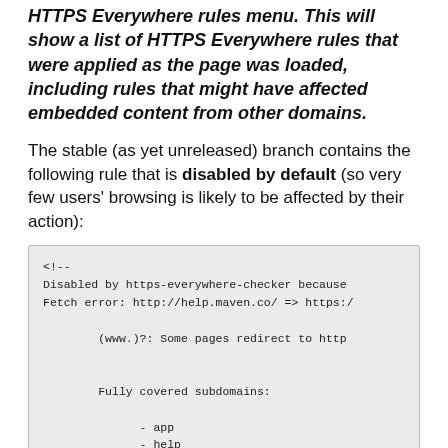HTTPS Everywhere rules menu. This will show a list of HTTPS Everywhere rules that were applied as the page was loaded, including rules that might have affected embedded content from other domains.
The stable (as yet unreleased) branch contains the following rule that is disabled by default (so very few users' browsing is likely to be affected by their action):
[Figure (screenshot): Code block showing a commented-out XML/config snippet: <!-- Disabled by https-everywhere-checker because Fetch error: http://help.maven.co/ => https:// ... (www.)?: Some pages redirect to http ... Fully covered subdomains: - app - help]